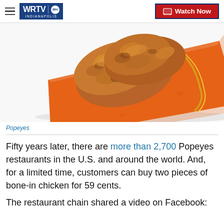WRTV INDIANAPOLIS | Watch Now
[Figure (photo): Fried chicken pieces on an orange Popeyes wrapper with a gold ribbon, on a white background]
Popeyes
Fifty years later, there are more than 2,700 Popeyes restaurants in the U.S. and around the world. And, for a limited time, customers can buy two pieces of bone-in chicken for 59 cents.
The restaurant chain shared a video on Facebook: